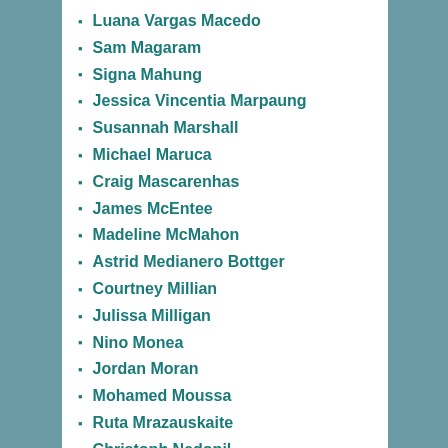Luana Vargas Macedo
Sam Magaram
Signa Mahung
Jessica Vincentia Marpaung
Susannah Marshall
Michael Maruca
Craig Mascarenhas
James McEntee
Madeline McMahon
Astrid Medianero Bottger
Courtney Millian
Julissa Milligan
Nino Monea
Jordan Moran
Mohamed Moussa
Ruta Mrazauskaite
Christoph Nedopil
Shinta Nur Fauzia
Anusha Pamula
Beatriz Paterno
Michael Pierce